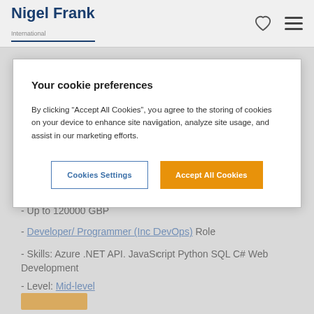Nigel Frank
Your cookie preferences
By clicking “Accept All Cookies”, you agree to the storing of cookies on your device to enhance site navigation, analyze site usage, and assist in our marketing efforts.
- Up to 120000 GBP
- Developer/ Programmer (Inc DevOps) Role
- Skills: Azure .NET API. JavaScript Python SQL C# Web Development
- Level: Mid-level